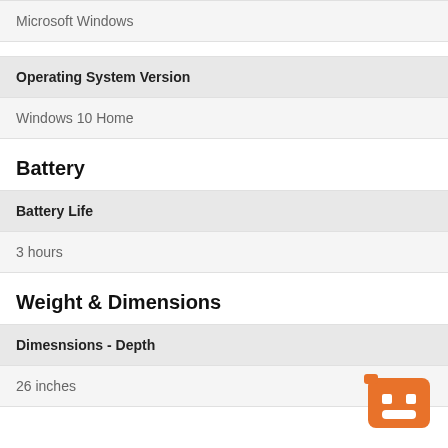Microsoft Windows
Operating System Version
Windows 10 Home
Battery
Battery Life
3 hours
Weight & Dimensions
Dimesnsions - Depth
26 inches